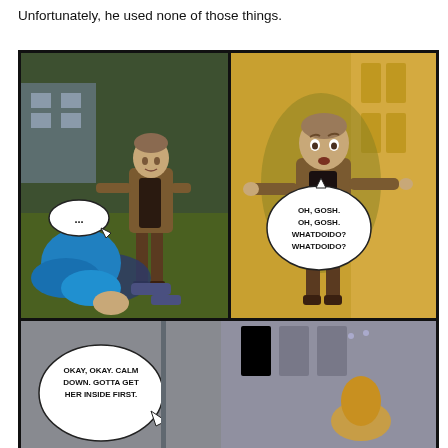Unfortunately, he used none of those things.
[Figure (illustration): Two-panel comic using The Sims 4 game screenshots. Left panel: A male Sim in a brown jacket stands looking down at a blue-haired female Sim collapsed on the ground outside. A speech bubble with '...' comes from the male Sim. Right panel: Close-up of the same male Sim against a yellow wall with a panicked expression, speech bubble reading 'OH, GOSH. OH, GOSH. WHATDOIDO? WHATDOIDO?']
[Figure (illustration): Bottom panel (partially visible): Interior scene with a speech bubble reading 'OKAY, OKAY. CALM DOWN. GOTTA GET HER INSIDE FIRST.' A yellow-haired character is partially visible.]